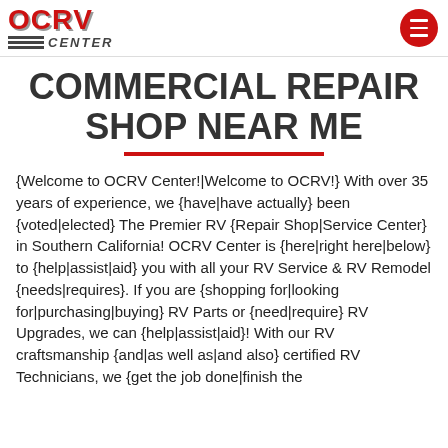[Figure (logo): OCRV Center logo with red block letters and horizontal gray lines next to CENTER text]
COMMERCIAL REPAIR SHOP NEAR ME
{Welcome to OCRV Center!|Welcome to OCRV!} With over 35 years of experience, we {have|have actually} been {voted|elected} The Premier RV {Repair Shop|Service Center} in Southern California! OCRV Center is {here|right here|below} to {help|assist|aid} you with all your RV Service & RV Remodel {needs|requires}. If you are {shopping for|looking for|purchasing|buying} RV Parts or {need|require} RV Upgrades, we can {help|assist|aid}! With our RV craftsmanship {and|as well as|and also} certified RV Technicians, we {get the job done|finish the